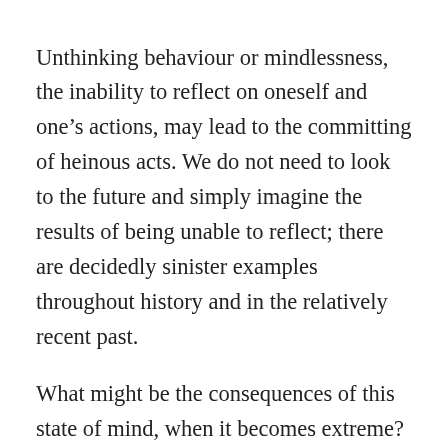Unthinking behaviour or mindlessness, the inability to reflect on oneself and one’s actions, may lead to the committing of heinous acts. We do not need to look to the future and simply imagine the results of being unable to reflect; there are decidedly sinister examples throughout history and in the relatively recent past.

What might be the consequences of this state of mind, when it becomes extreme? This, and other related issues, will be explored in the next post.
Share this: